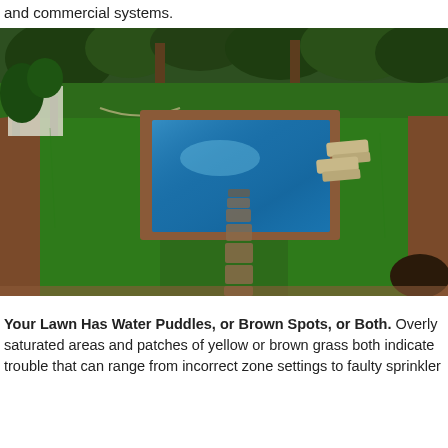and commercial systems.
[Figure (photo): Aerial view of a lush green backyard with a rectangular swimming pool surrounded by a brick border, stepping stone path leading from the pool, lounge chairs on the right, trees and a white gazebo structure on the left, and a dark mulch bed on the lower right.]
Your Lawn Has Water Puddles, or Brown Spots, or Both. Overly saturated areas and patches of yellow or brown grass both indicate trouble that can range from incorrect zone settings to faulty sprinkler